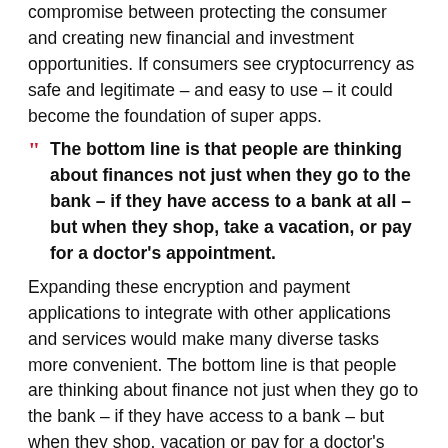compromise between protecting the consumer and creating new financial and investment opportunities. If consumers see cryptocurrency as safe and legitimate – and easy to use – it could become the foundation of super apps.
"The bottom line is that people are thinking about finances not just when they go to the bank – if they have access to a bank at all – but when they shop, take a vacation, or pay for a doctor's appointment.
Expanding these encryption and payment applications to integrate with other applications and services would make many diverse tasks more convenient. The bottom line is that people are thinking about finance not just when they go to the bank – if they have access to a bank – but when they shop, vacation or pay for a doctor's appointment, and these apps would help provide financial services. they need a personalized way.
Integrating cryptographic payments into other tasks would also go a long way towards democratizing the world of